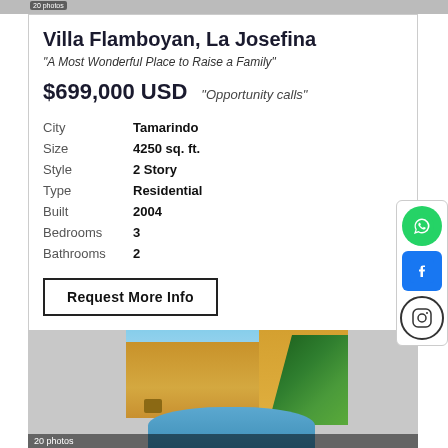[Figure (photo): Top image strip showing property photos]
Villa Flamboyan, La Josefina
"A Most Wonderful Place to Raise a Family"
$699,000 USD   "Opportunity calls"
| City | Tamarindo |
| Size | 4250 sq. ft. |
| Style | 2 Story |
| Type | Residential |
| Built | 2004 |
| Bedrooms | 3 |
| Bathrooms | 2 |
Request More Info
[Figure (photo): Property photo showing pool area with tropical plants and yellow villa exterior, labeled '20 photos']